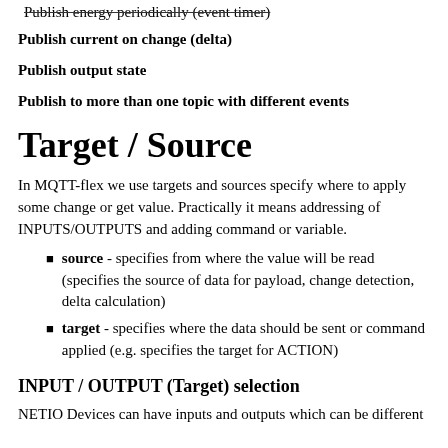Publish energy periodically (event timer)
Publish current on change (delta)
Publish output state
Publish to more than one topic with different events
Target / Source
In MQTT-flex we use targets and sources specify where to apply some change or get value. Practically it means addressing of INPUTS/OUTPUTS and adding command or variable.
source - specifies from where the value will be read (specifies the source of data for payload, change detection, delta calculation)
target - specifies where the data should be sent or command applied (e.g. specifies the target for ACTION)
INPUT / OUTPUT (Target) selection
NETIO Devices can have inputs and outputs which can be different